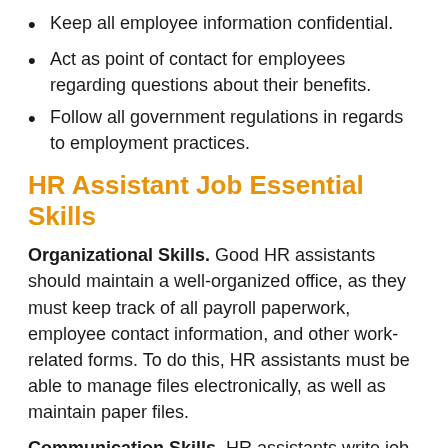Keep all employee information confidential.
Act as point of contact for employees regarding questions about their benefits.
Follow all government regulations in regards to employment practices.
HR Assistant Job Essential Skills
Organizational Skills. Good HR assistants should maintain a well-organized office, as they must keep track of all payroll paperwork, employee contact information, and other work-related forms. To do this, HR assistants must be able to manage files electronically, as well as maintain paper files.
Communication Skills. HR assistants write job postings, screen applications, and schedule interviews, all of which require communication skills. They must also be able to answer employee questions concerning benefits.